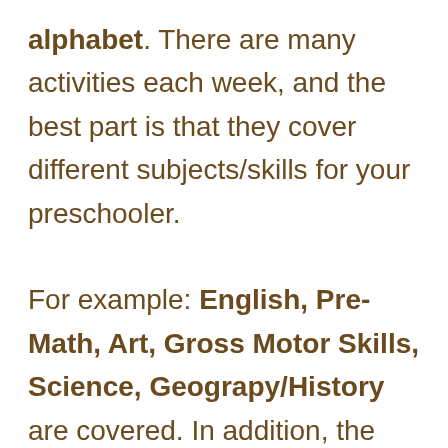alphabet. There are many activities each week, and the best part is that they cover different subjects/skills for your preschooler. For example: English, Pre-Math, Art, Gross Motor Skills, Science, Geograpy/History are covered. In addition, the Literature section gives a suggested list of library books each day that relate to the lesson and theme. (You can never